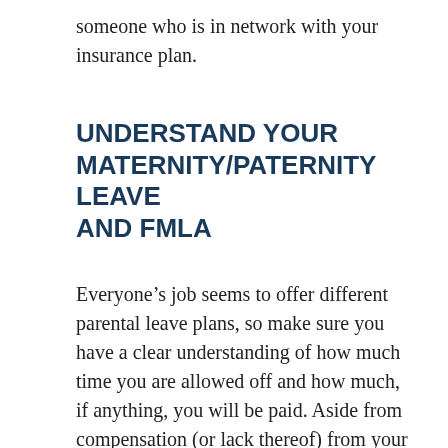someone who is in network with your insurance plan.
UNDERSTAND YOUR MATERNITY/PATERNITY LEAVE AND FMLA
Everyone’s job seems to offer different parental leave plans, so make sure you have a clear understanding of how much time you are allowed off and how much, if anything, you will be paid. Aside from compensation (or lack thereof) from your job, you may also be eligible to collect payment from the Family and Medical Leave Act (FMLA). Once you have all this financial information, you can then start to make a realistic budget for the time you will be away from work and your usual salary. If your parental leave is paid in full from your employer, you don’t have to paid